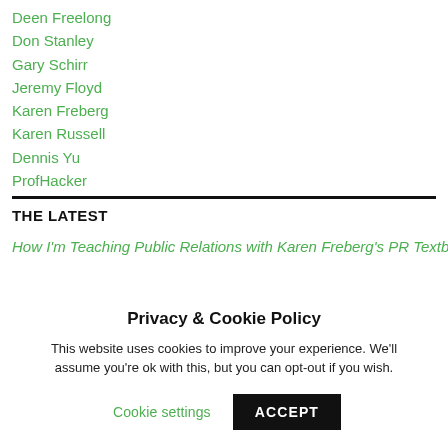Deen Freelong
Don Stanley
Gary Schirr
Jeremy Floyd
Karen Freberg
Karen Russell
Dennis Yu
ProfHacker
THE LATEST
How I'm Teaching Public Relations with Karen Freberg's PR Textbook
Privacy & Cookie Policy
This website uses cookies to improve your experience. We'll assume you're ok with this, but you can opt-out if you wish.
Cookie settings  ACCEPT